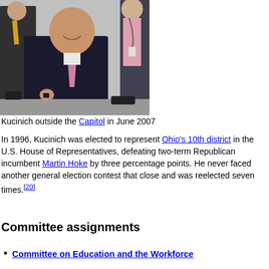[Figure (photo): Photo of Kucinich outside the Capitol, wearing a dark suit and pink tie, with other people visible in the background]
Kucinich outside the Capitol in June 2007
In 1996, Kucinich was elected to represent Ohio's 10th district in the U.S. House of Representatives, defeating two-term Republican incumbent Martin Hoke by three percentage points. He never faced another general election contest that close and was reelected seven times.[20]
Committee assignments
Committee on Education and the Workforce